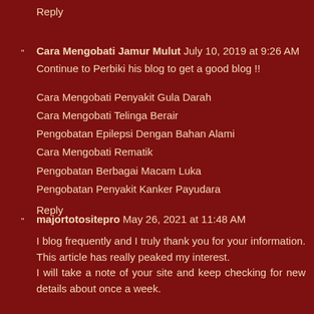Reply
Cara Mengobati Jamur Mulut July 10, 2019 at 9:26 AM
Continue to Perbiki his blog to get a good blog !!
Cara Mengobati Penyakit Gula Darah
Cara Mengobati Telinga Berair
Pengobatan Epilepsi Dengan Bahan Alami
Cara Mengobati Rematik
Pengobatan Berbagai Macam Luka
Pengobatan Penyakit Kanker Payudara
Reply
majortotositepro May 26, 2021 at 11:48 AM
I blog frequently and I truly thank you for your information. This article has really peaked my interest. I will take a note of your site and keep checking for new details about once a week.